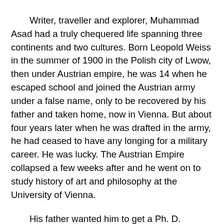Writer, traveller and explorer, Muhammad Asad had a truly chequered life spanning three continents and two cultures. Born Leopold Weiss in the summer of 1900 in the Polish city of Lwow, then under Austrian empire, he was 14 when he escaped school and joined the Austrian army under a false name, only to be recovered by his father and taken home, now in Vienna. But about four years later when he was drafted in the army, he had ceased to have any longing for a military career. He was lucky. The Austrian Empire collapsed a few weeks after and he went on to study history of art and philosophy at the University of Vienna.
His father wanted him to get a Ph. D. Leopold wanted to try his hand at journalism and one summer day in 1920 he boarded the train for Prague. In doing so, he had followed in the foot-steps of his own father and a great-great-uncle. One of his great-great-uncles had been a rabbi. One day, he left home, shaved off his beard and sidelocks and after drifting for a while, he arrived at Oxford. He graduated as a scholar, converted...